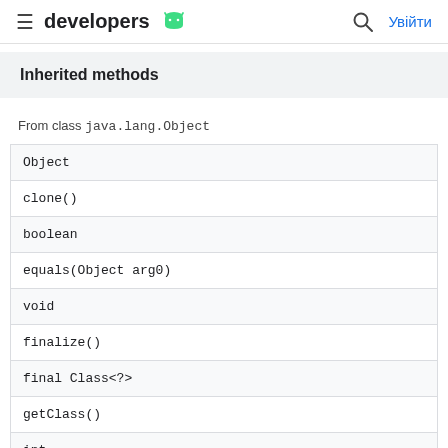developers  Увійти
Inherited methods
From class java.lang.Object
| Object |
| clone() |
| boolean |
| equals(Object arg0) |
| void |
| finalize() |
| final Class<?> |
| getClass() |
| int |